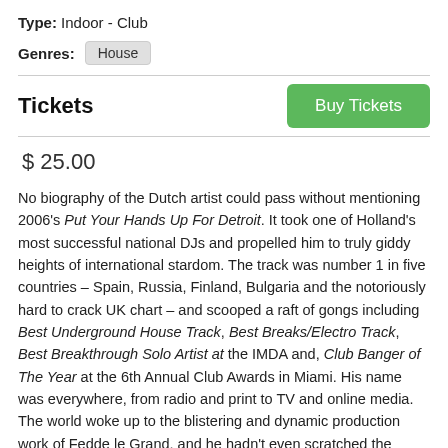Type: Indoor - Club
Genres: House
Tickets
$ 25.00
No biography of the Dutch artist could pass without mentioning 2006's Put Your Hands Up For Detroit. It took one of Holland's most successful national DJs and propelled him to truly giddy heights of international stardom. The track was number 1 in five countries – Spain, Russia, Finland, Bulgaria and the notoriously hard to crack UK chart – and scooped a raft of gongs including Best Underground House Track, Best Breaks/Electro Track, Best Breakthrough Solo Artist at the IMDA and, Club Banger of The Year at the 6th Annual Club Awards in Miami. His name was everywhere, from radio and print to TV and online media. The world woke up to the blistering and dynamic production work of Fedde le Grand, and he hadn't even scratched the surface of what was to follow.